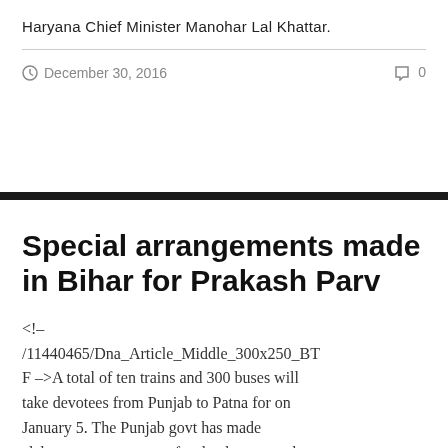Haryana Chief Minister Manohar Lal Khattar.
December 30, 2016   0
Special arrangements made in Bihar for Prakash Parv
<!– /11440465/Dna_Article_Middle_300x250_BTF –>A total of ten trains and 300 buses will take devotees from Punjab to Patna for on January 5. The Punjab govt has made elaborate arrangements for the devotees who will travel free of cost to Patna for the 'Prakash Utsav'. The state govt has also co-